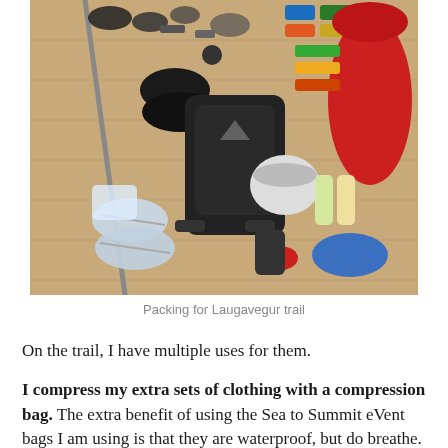[Figure (photo): Overhead flat-lay photo of hiking/backpacking gear laid out on a wood floor, including a large black backpack, trekking poles, shoes, sandals, sleeping bag (red), food bars, stove, cookware, toiletries, and various other trail supplies.]
Packing for Laugavegur trail
On the trail, I have multiple uses for them.
I compress my extra sets of clothing with a compression bag. The extra benefit of using the Sea to Summit eVent bags I am using is that they are waterproof, but do breathe. Pretty much the best of